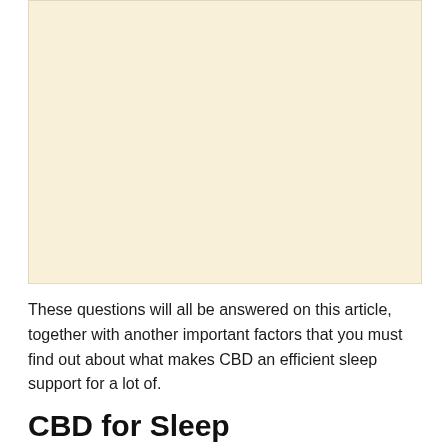[Figure (other): A blank cream/beige colored rectangular image placeholder area]
These questions will all be answered on this article, together with another important factors that you must find out about what makes CBD an efficient sleep support for a lot of.
CBD for Sleep